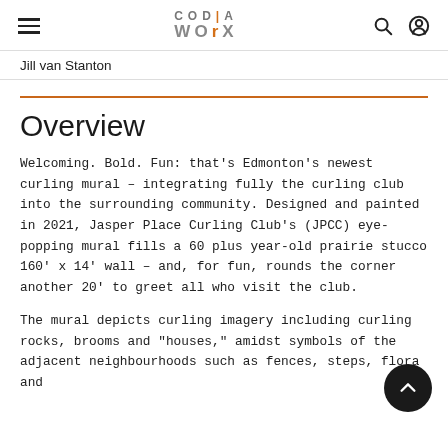CODIA WORX — navigation header with hamburger menu, logo, search and user icons
Jill van Stanton
Overview
Welcoming. Bold. Fun: that's Edmonton's newest curling mural – integrating fully the curling club into the surrounding community. Designed and painted in 2021, Jasper Place Curling Club's (JPCC) eye-popping mural fills a 60 plus year-old prairie stucco 160' x 14' wall – and, for fun, rounds the corner another 20' to greet all who visit the club.
The mural depicts curling imagery including curling rocks, brooms and "houses," amidst symbols of the adjacent neighbourhoods such as fences, steps, flora and